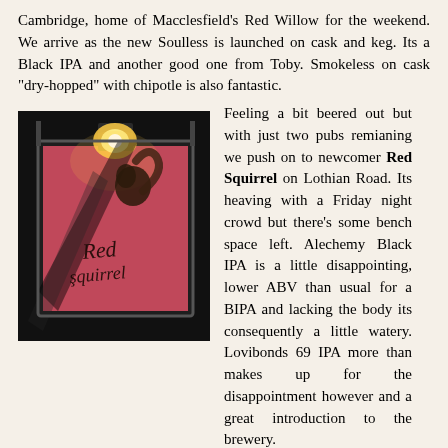Cambridge, home of Macclesfield's Red Willow for the weekend. We arrive as the new Soulless is launched on cask and keg. Its a Black IPA and another good one from Toby. Smokeless on cask "dry-hopped" with chipotle is also fantastic.
[Figure (photo): A pub sign for 'Red Squirrel' illuminated at night, showing a squirrel figure on a dark background with reddish/pink coloring, lit by a warm overhead light.]
Feeling a bit beered out but with just two pubs remianing we push on to newcomer Red Squirrel on Lothian Road. Its heaving with a Friday night crowd but there's some bench space left. Alechemy Black IPA is a little disappointing, lower ABV than usual for a BIPA and lacking the body its consequently a little watery. Lovibonds 69 IPA more than makes up for the disappointment however and a great introduction to the brewery.